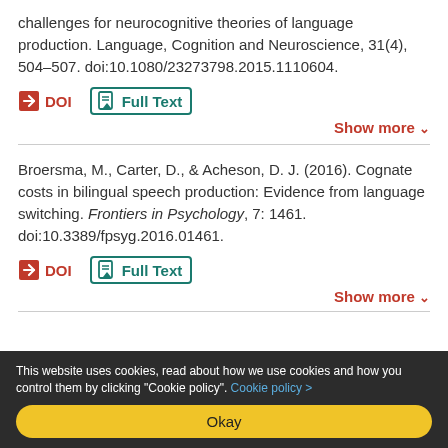challenges for neurocognitive theories of language production. Language, Cognition and Neuroscience, 31(4), 504–507. doi:10.1080/23273798.2015.1110604.
DOI | Full Text | Show more
Broersma, M., Carter, D., & Acheson, D. J. (2016). Cognate costs in bilingual speech production: Evidence from language switching. Frontiers in Psychology, 7: 1461. doi:10.3389/fpsyg.2016.01461.
DOI | Full Text | Show more
This website uses cookies, read about how we use cookies and how you control them by clicking "Cookie policy". Cookie policy > Okay